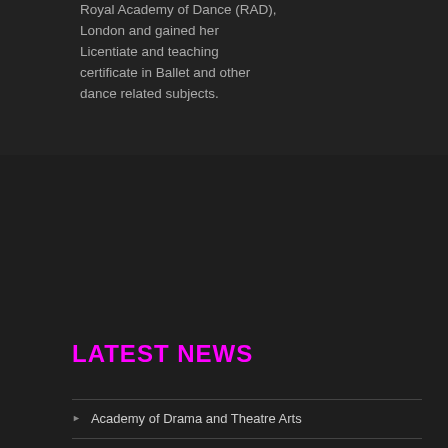Royal Academy of Dance (RAD), London and gained her Licentiate and teaching certificate in Ballet and other dance related subjects.
LATEST NEWS
Academy of Drama and Theatre Arts
Silver Swans
Autumn 2020 Newsletter
Acrobatic Arts at Warwick Gates Community Centre
Summer 2017 Newsletter